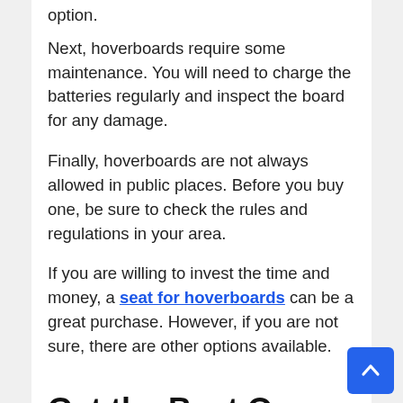option.
Next, hoverboards require some maintenance. You will need to charge the batteries regularly and inspect the board for any damage.
Finally, hoverboards are not always allowed in public places. Before you buy one, be sure to check the rules and regulations in your area.
If you are willing to invest the time and money, a seat for hoverboards can be a great purchase. However, if you are not sure, there are other options available.
Get the Best Ones from Go Hoverkart